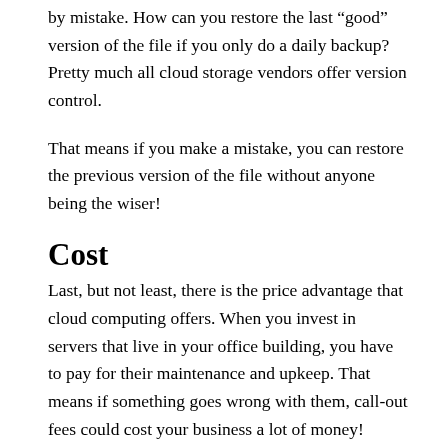by mistake. How can you restore the last “good” version of the file if you only do a daily backup? Pretty much all cloud storage vendors offer version control.
That means if you make a mistake, you can restore the previous version of the file without anyone being the wiser!
Cost
Last, but not least, there is the price advantage that cloud computing offers. When you invest in servers that live in your office building, you have to pay for their maintenance and upkeep. That means if something goes wrong with them, call-out fees could cost your business a lot of money!
The low cost of cloud computing means that you don’t have to worry about such fees. The vendor